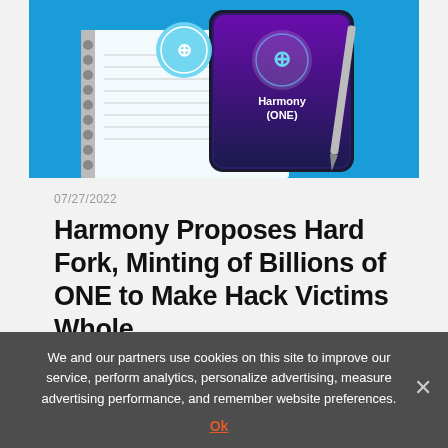[Figure (photo): A smartphone displaying 'Harmony (ONE)' logo on its screen, placed on a spiral notebook with a pen, against a bright blue background. A circular Harmony logo sticker is visible on the notebook.]
07/27/2022
Harmony Proposes Hard Fork, Minting of Billions of ONE to Make Hack Victims Whole
We and our partners use cookies on this site to improve our service, perform analytics, personalize advertising, measure advertising performance, and remember website preferences.
Ok